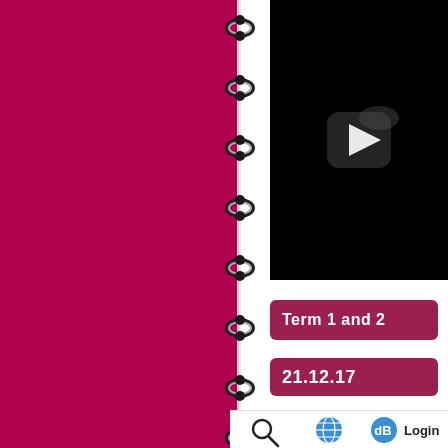[Figure (illustration): Crimson/dark pink spiral-bound notebook cover on the left side, with metallic spiral coils running vertically down the center binding]
[Figure (screenshot): Video thumbnail showing a black background with a rounded-rectangle play button icon (white triangle) in the center-right area]
Term 1 and 2
21.12.17
[Figure (infographic): Bottom navigation bar with a magnifying glass search icon, a globe/web icon, and a 'dB Login' button icon with text]